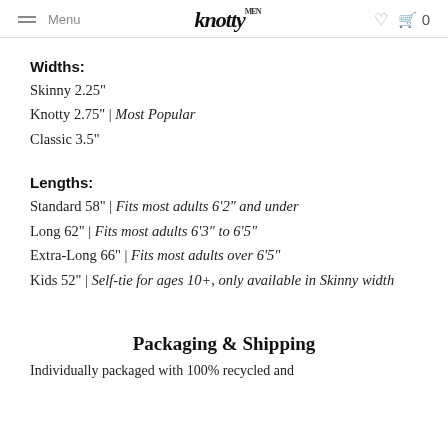Menu | knotty | ♡ 🛒 0
Widths:
Skinny 2.25"
Knotty 2.75" | Most Popular
Classic 3.5"
Lengths:
Standard 58" | Fits most adults 6'2" and under
Long 62" | Fits most adults 6'3" to 6'5"
Extra-Long 66" | Fits most adults over 6'5"
Kids 52" | Self-tie for ages 10+, only available in Skinny width
Packaging & Shipping
Individually packaged with 100% recycled and